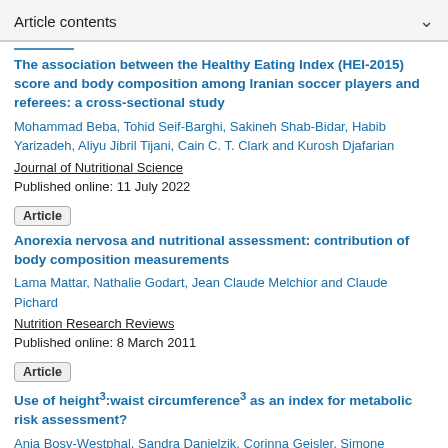Article contents
The association between the Healthy Eating Index (HEI-2015) score and body composition among Iranian soccer players and referees: a cross-sectional study
Mohammad Beba, Tohid Seif-Barghi, Sakineh Shab-Bidar, Habib Yarizadeh, Aliyu Jibril Tijani, Cain C. T. Clark and Kurosh Djafarian
Journal of Nutritional Science
Published online: 11 July 2022
Article
Anorexia nervosa and nutritional assessment: contribution of body composition measurements
Lama Mattar, Nathalie Godart, Jean Claude Melchior and Claude Pichard
Nutrition Research Reviews
Published online: 8 March 2011
Article
Use of height³:waist circumference³ as an index for metabolic risk assessment?
Anja Bosy-Westphal, Sandra Danielzik, Corinna Geisler, Simone